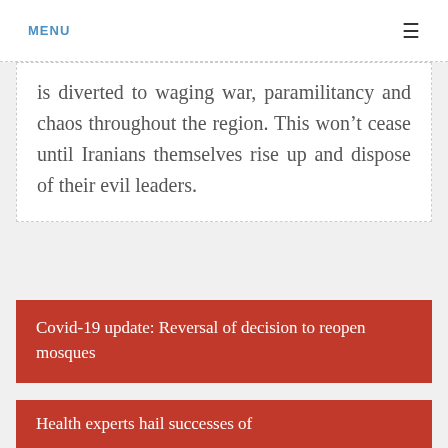MENU ☰
is diverted to waging war, paramilitancy and chaos throughout the region. This won't cease until Iranians themselves rise up and dispose of their evil leaders.
Covid-19 update: Reversal of decision to reopen mosques
Health experts hail successes of